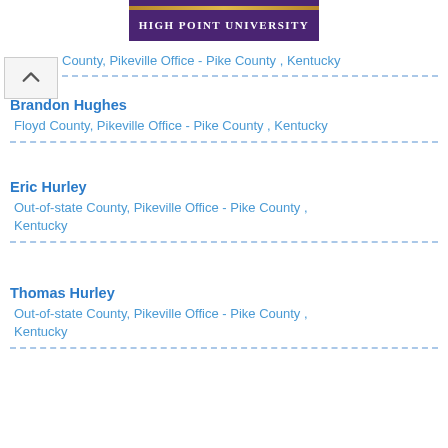High Point University
County, Pikeville Office - Pike County , Kentucky
Brandon Hughes
Floyd County, Pikeville Office - Pike County , Kentucky
Eric Hurley
Out-of-state County, Pikeville Office - Pike County , Kentucky
Thomas Hurley
Out-of-state County, Pikeville Office - Pike County , Kentucky